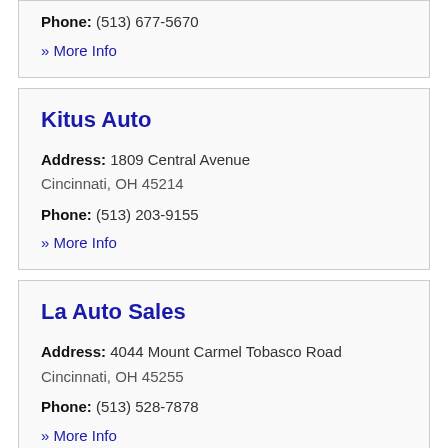Phone: (513) 677-5670
» More Info
Kitus Auto
Address: 1809 Central Avenue
Cincinnati, OH 45214
Phone: (513) 203-9155
» More Info
La Auto Sales
Address: 4044 Mount Carmel Tobasco Road
Cincinnati, OH 45255
Phone: (513) 528-7878
» More Info